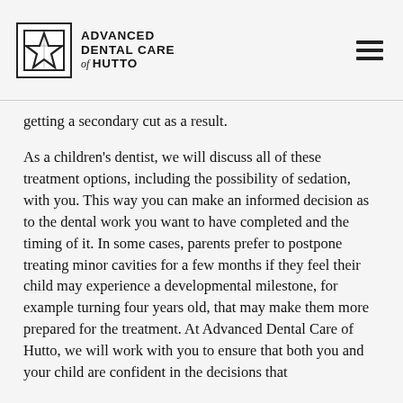Advanced Dental Care of Hutto
getting a secondary cut as a result.
As a children's dentist, we will discuss all of these treatment options, including the possibility of sedation, with you. This way you can make an informed decision as to the dental work you want to have completed and the timing of it. In some cases, parents prefer to postpone treating minor cavities for a few months if they feel their child may experience a developmental milestone, for example turning four years old, that may make them more prepared for the treatment. At Advanced Dental Care of Hutto, we will work with you to ensure that both you and your child are confident in the decisions that